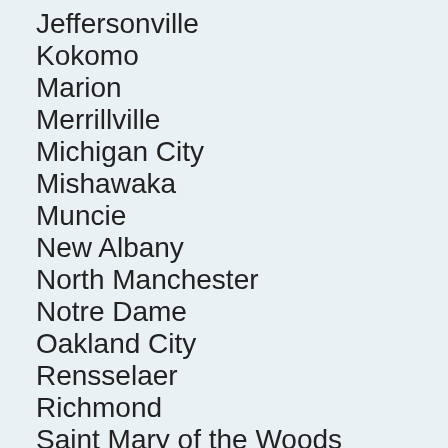Jeffersonville
Kokomo
Marion
Merrillville
Michigan City
Mishawaka
Muncie
New Albany
North Manchester
Notre Dame
Oakland City
Rensselaer
Richmond
Saint Mary of the Woods